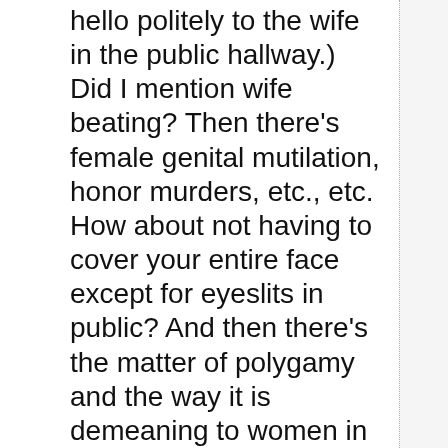hello politely to the wife in the public hallway.) Did I mention wife beating? Then there's female genital mutilation, honor murders, etc., etc. How about not having to cover your entire face except for eyeslits in public? And then there's the matter of polygamy and the way it is demeaning to women in itself.

I mean, give me a break. A person could go